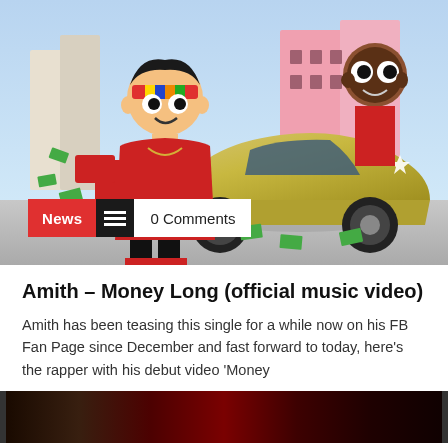[Figure (illustration): Cartoon illustration of two animated characters with a gold Lamborghini in a city street setting, with dollar bills flying around. One character in front wears a red outfit and colorful headband, the other is in the background by the car. News tag overlay shows 'News', hamburger icon, and '0 Comments' at bottom left of image.]
Amith – Money Long (official music video)
Amith has been teasing this single for a while now on his FB Fan Page since December and fast forward to today, here's the rapper with his debut video 'Money
[Figure (screenshot): Partial video player thumbnail showing dark/blurred video content at the bottom of the page.]